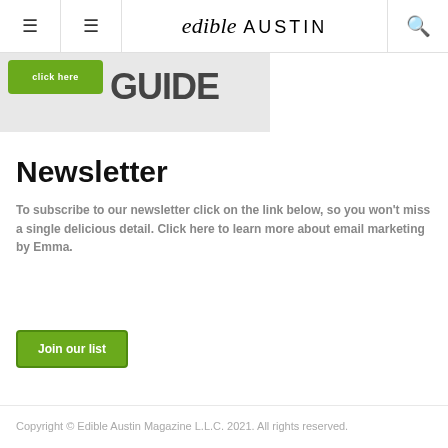edible AUSTIN
[Figure (illustration): Banner image with green 'click here' button on left and bold 'GUIDE' text on right, on grey crosshatch background]
Newsletter
To subscribe to our newsletter click on the link below, so you won't miss a single delicious detail. Click here to learn more about email marketing by Emma.
[Figure (other): Green button reading 'Join our list']
Copyright © Edible Austin Magazine L.L.C. 2021. All rights reserved.